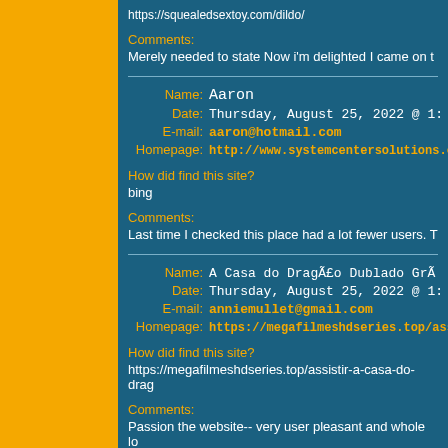https://squealedsextoy.com/dildo/
Comments:
Merely needed to state Now i'm delighted I came on t
Name: Aaron  Date: Thursday, August 25, 2022 @ 1:  E-mail: aaron@hotmail.com  Homepage: http://www.systemcentersolutions.co.u
How did find this site?
bing
Comments:
Last time I checked this place had a lot fewer users. T
Name: A Casa do DragÃ£o Dublado GrÃ  Date: Thursday, August 25, 2022 @ 1:  E-mail: anniemullet@gmail.com  Homepage: https://megafilmeshdseries.top/assistir-
How did find this site?
https://megafilmeshdseries.top/assistir-a-casa-do-drag
Comments:
Passion the website-- very user pleasant and whole lo